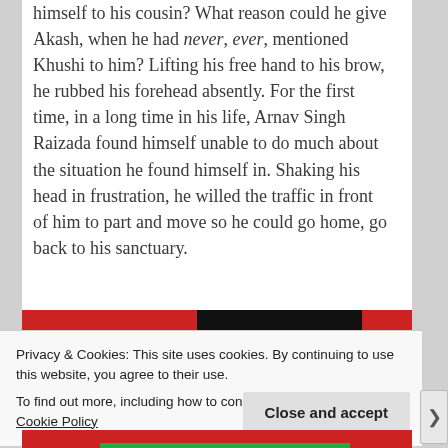himself to his cousin? What reason could he give Akash, when he had never, ever, mentioned Khushi to him? Lifting his free hand to his brow, he rubbed his forehead absently. For the first time, in a long time in his life, Arnav Singh Raizada found himself unable to do much about the situation he found himself in. Shaking his head in frustration, he willed the traffic in front of him to part and move so he could go home, go back to his sanctuary.
[Figure (other): Red and black banner strip (website header/navigation bar partially visible)]
Privacy & Cookies: This site uses cookies. By continuing to use this website, you agree to their use.
To find out more, including how to control cookies, see here: Cookie Policy
Close and accept